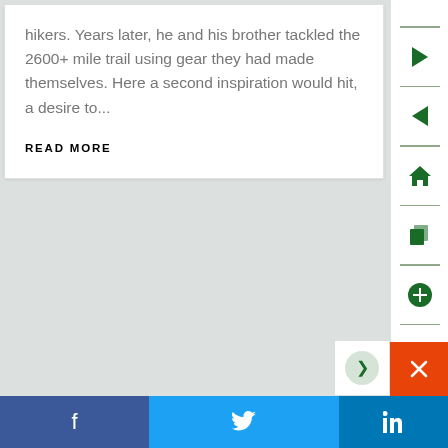hikers. Years later, he and his brother tackled the 2600+ mile trail using gear they had made themselves. Here a second inspiration would hit, a desire to...
READ MORE
[Figure (screenshot): Right sidebar navigation with green arrow icons (forward, back), home icon, copy icon, plus icon, separated by horizontal lines]
[Figure (screenshot): Social sharing bar at bottom with Facebook (dark blue), Twitter (light blue), LinkedIn (blue) buttons, and an orange close/X button]
[Figure (screenshot): Second content card area (blank white card) below gap]
[Figure (screenshot): Partial circular icon visible at bottom right near orange close button]